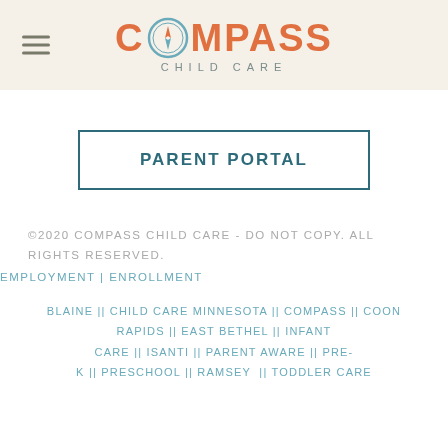[Figure (logo): Compass Child Care logo with compass icon in teal/orange color scheme, hamburger menu icon on the left]
PARENT PORTAL
©2020 COMPASS CHILD CARE - DO NOT COPY. ALL RIGHTS RESERVED.
EMPLOYMENT | ENROLLMENT
BLAINE || CHILD CARE MINNESOTA || COMPASS || COON RAPIDS || EAST BETHEL || INFANT CARE || ISANTI || PARENT AWARE || PRE-K || PRESCHOOL || RAMSEY  || TODDLER CARE